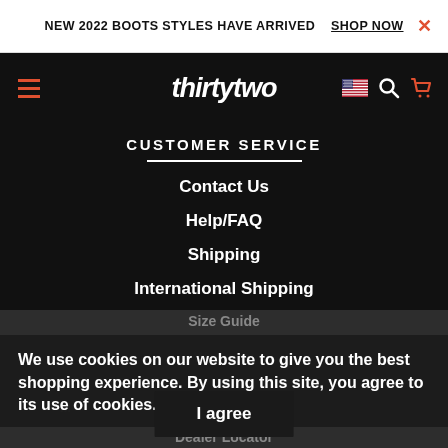NEW 2022 BOOTS STYLES HAVE ARRIVED  SHOP NOW  ×
[Figure (logo): ThirtyTwo brand logo in white italic bold font on black navigation bar, with hamburger menu icon (orange lines) on left and US flag, search, and cart icons on right]
CUSTOMER SERVICE
Contact Us
Help/FAQ
Shipping
International Shipping
Returns
Size Guide
Warranty
Dealer Locator
We use cookies on our website to give you the best shopping experience. By using this site, you agree to its use of cookies.
I agree